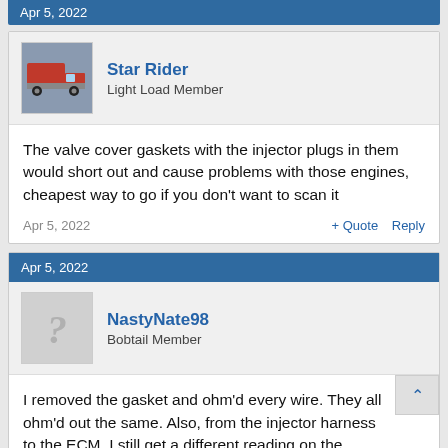Apr 5, 2022
Star Rider
Light Load Member
The valve cover gaskets with the injector plugs in them would short out and cause problems with those engines, cheapest way to go if you don't want to scan it
Apr 5, 2022 + Quote Reply
Apr 5, 2022
NastyNate98
Bobtail Member
I removed the gasket and ohm'd every wire. They all ohm'd out the same. Also, from the injector harness to the ECM, I still get a different reading on the injector 6 wire
Apr 5, 2022 + Quote Reply